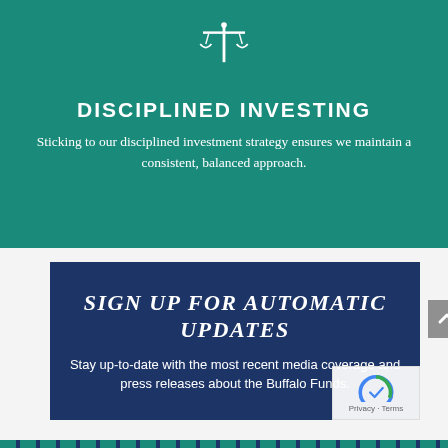[Figure (logo): Balance scale / justice scales icon in white, centered at top of teal section]
DISCIPLINED INVESTING
Sticking to our disciplined investment strategy ensures we maintain a consistent, balanced approach.
SIGN UP FOR AUTOMATIC UPDATES
Stay up-to-date with the most recent media coverage and press releases about the Buffalo Funds.